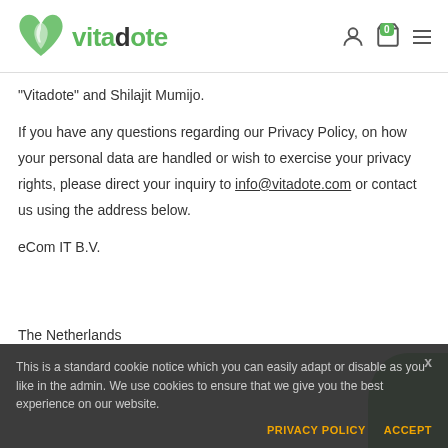[Figure (logo): Vitadote logo with green leaf/heart icon and green text 'vitadote' with dark letter 'd']
“Vitadote” and Shilajit Mumijo.
If you have any questions regarding our Privacy Policy, on how your personal data are handled or wish to exercise your privacy rights, please direct your inquiry to info@vitadote.com or contact us using the address below.
eCom IT B.V.
The Netherlands
This is a standard cookie notice which you can easily adapt or disable as you like in the admin. We use cookies to ensure that we give you the best experience on our website.